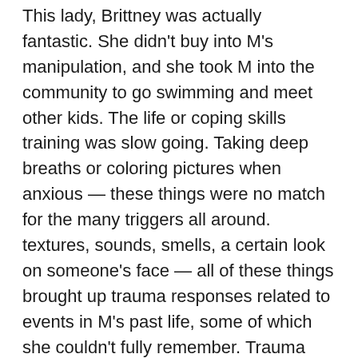This lady, Brittney was actually fantastic. She didn't buy into M's manipulation, and she took M into the community to go swimming and meet other kids. The life or coping skills training was slow going. Taking deep breaths or coloring pictures when anxious — these things were no match for the many triggers all around. textures, sounds, smells, a certain look on someone's face — all of these things brought up trauma responses related to events in M's past life, some of which she couldn't fully remember. Trauma that happens before language development is the most difficult to process.
My husband and I rounded out the at home team. We both like STRUCTURE. M needed